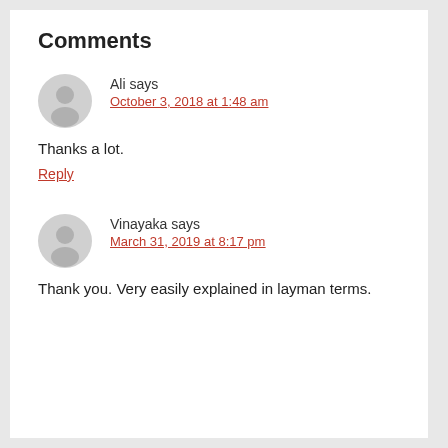Comments
Ali says
October 3, 2018 at 1:48 am
Thanks a lot.
Reply
Vinayaka says
March 31, 2019 at 8:17 pm
Thank you. Very easily explained in layman terms.